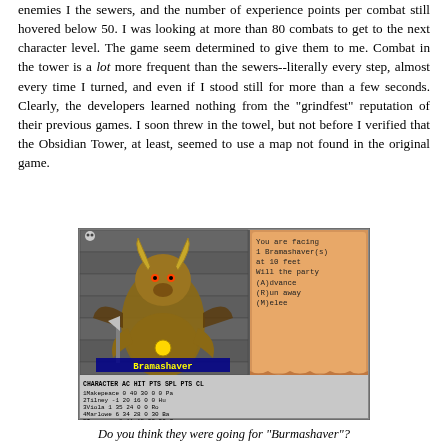enemies I the sewers, and the number of experience points per combat still hovered below 50. I was looking at more than 80 combats to get to the next character level. The game seem determined to give them to me. Combat in the tower is a lot more frequent than the sewers--literally every step, almost every time I turned, and even if I stood still for more than a few seconds. Clearly, the developers learned nothing from the "grindfest" reputation of their previous games. I soon threw in the towel, but not before I verified that the Obsidian Tower, at least, seemed to use a map not found in the original game.
[Figure (screenshot): A video game screenshot showing a minotaur-like creature named 'Bramashaver' in a dungeon setting. The right panel shows combat text: 'You are facing 1 Bramashaver(s) at 10 feet Will the party (A)dvance (R)un away (M)elee'. Below is a character stats table showing CHARACTER, AC, HIT, PTS, SPL, PTS, CL columns with 6 characters listed: 1Makepeace, 2Tilney, 3Viola, 4Marlowe, 5Tennyman, 6Rosaline.]
Do you think they were going for "Burmashaver"?